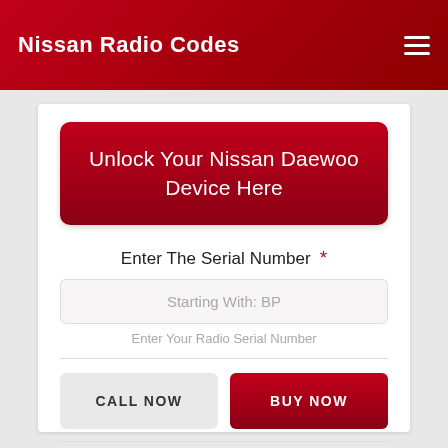Nissan Radio Codes
Unlock Your Nissan Daewoo Device Here
Enter The Serial Number *
Starting With: BP
Enter Your Radio Serial Number
CALL NOW
BUY NOW
PRIVACY
TERMS